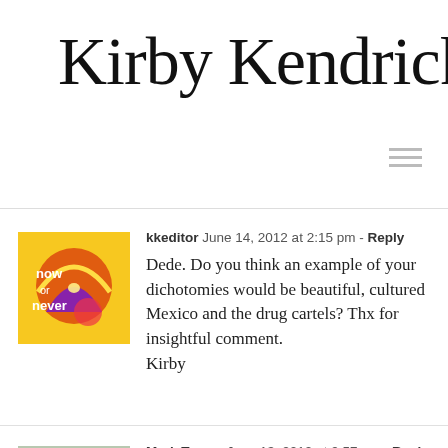Kirby Kendrick
kkeditor  June 14, 2012 at 2:15 pm - Reply

Dede. Do you think an example of your dichotomies would be beautiful, cultured Mexico and the drug cartels? Thx for insightful comment.
Kirby
Mark Turner  June 13, 2012 at 9:57 pm - Reply

One aspect is probably the element of mystery which we feel compelled to clarify. The shadowy, or undetailed, is the unknown we fear, but sense that we can confront and unmask. Art can call the viewer to investigate further, to seek revelation. There is always